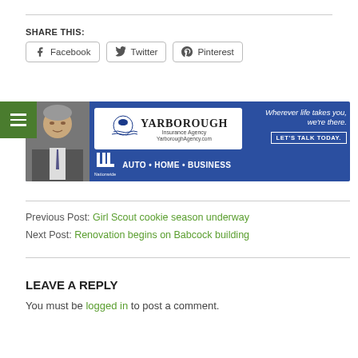SHARE THIS:
Facebook | Twitter | Pinterest (share buttons)
[Figure (advertisement): Yarborough Insurance Agency ad banner on blue background. Shows a man in a suit on the left. Logo box with eagle/sun logo and text 'YARBOROUGH Insurance Agency YarboroughAgency.com'. Tagline: 'Wherever life takes you, we’re there.' Button: 'LET’S TALK TODAY.' Bottom: Nationwide logo with 'AUTO • HOME • BUSINESS']
Previous Post: Girl Scout cookie season underway
Next Post: Renovation begins on Babcock building
LEAVE A REPLY
You must be logged in to post a comment.